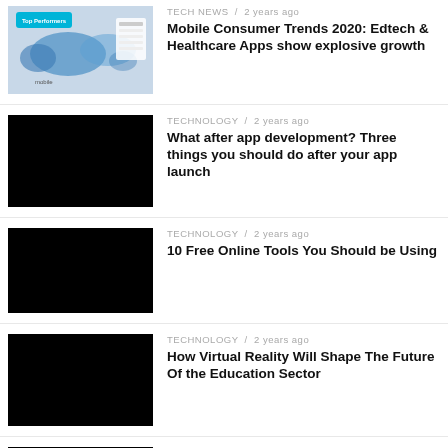[Figure (screenshot): Thumbnail image showing a world map with blue highlighted regions and data overlay, labeled 'Top Performers']
TECH NEWS / 2 years ago
Mobile Consumer Trends 2020: Edtech & Healthcare Apps show explosive growth
[Figure (photo): Black rectangle thumbnail]
TECHNOLOGY / 2 years ago
What after app development? Three things you should do after your app launch
[Figure (photo): Black rectangle thumbnail]
TECHNOLOGY / 2 years ago
10 Free Online Tools You Should be Using
[Figure (photo): Black rectangle thumbnail]
TECHNOLOGY / 2 years ago
How Virtual Reality Will Shape The Future Of the Education Sector
[Figure (photo): Black rectangle thumbnail]
COMPUTERS & IT / 2 years ago
The 5 Types Of Content That Increase Traffic And How To Nail Each Type Successfully